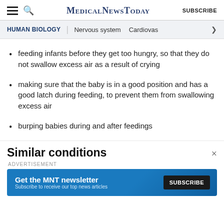MedicalNewsToday | SUBSCRIBE
HUMAN BIOLOGY | Nervous system | Cardiovas
feeding infants before they get too hungry, so that they do not swallow excess air as a result of crying
making sure that the baby is in a good position and has a good latch during feeding, to prevent them from swallowing excess air
burping babies during and after feedings
Similar conditions
ADVERTISEMENT
Get the MNT newsletter — Subscribe to receive our top news articles — SUBSCRIBE